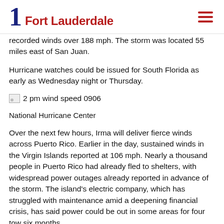1 Fort Lauderdale
recorded winds over 188 mph. The storm was located 55 miles east of San Juan.
Hurricane watches could be issued for South Florida as early as Wednesday night or Thursday.
[Figure (photo): 2 pm wind speed 0906 image placeholder]
National Hurricane Center
Over the next few hours, Irma will deliver fierce winds across Puerto Rico. Earlier in the day, sustained winds in the Virgin Islands reported at 106 mph. Nearly a thousand people in Puerto Rico had already fled to shelters, with widespread power outages already reported in advance of the storm. The island's electric company, which has struggled with maintenance amid a deepening financial crisis, has said power could be out in some areas for four tow six months.
Irma is expected to pass the Dominican Republic first Thursday before nearing the Turks and Caicos and southeastern Bahamas later in the